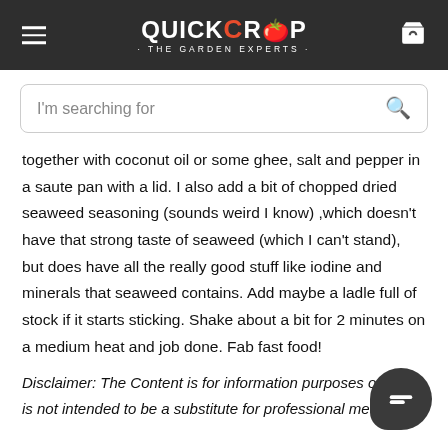QUICKCROP · THE GARDEN EXPERTS
I'm searching for
together with coconut oil or some ghee, salt and pepper in a saute pan with a lid. I also add a bit of chopped dried seaweed seasoning (sounds weird I know) ,which doesn't have that strong taste of seaweed (which I can't stand), but does have all the really good stuff like iodine and minerals that seaweed contains. Add maybe a ladle full of stock if it starts sticking. Shake about a bit for 2 minutes on a medium heat and job done. Fab fast food!
Disclaimer: The Content is for information purposes only and is not intended to be a substitute for professional medical advice, diagnosis, or treatment...